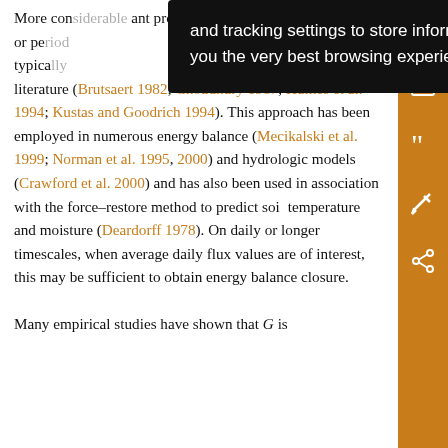More con[siderable] and [significant] proportion[s that span the] entire day or pe[riod... G/R] are typica[lly in ra]nge from 0.15 to 0.40 in the literature (Brutsaert 1982; Choudhury 1987; Humes et al. 1994; Kustas and Goodrich 1994). This approach has been employed in numerous energy balance (Mecikalski et al. 1999; Norman et al. 1995, 2000) and hydrologic models (Crawford et al. 2000) and has also been used in association with the force–restore method to predict soil temperature and moisture (Deardorff 1978). On daily or longer timescales, when average daily flux values are of interest, this may be sufficient to obtain energy balance closure.

Many empirical studies have shown that G is
[Figure (screenshot): Black tooltip popup overlay with white text reading: 'and tracking settings to store information that help give you the very best browsing experience.']
[Figure (other): Orange sidebar with icons: save, email, quote, edit/annotate, share]